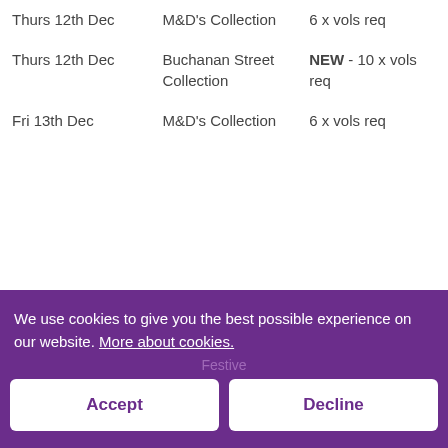| Date | Event | Volunteers |
| --- | --- | --- |
| Thurs 12th Dec | M&D's Collection | 6 x vols req |
| Thurs 12th Dec | Buchanan Street Collection | NEW - 10 x vols req |
| Fri 13th Dec | M&D's Collection | 6 x vols req |
We use cookies to give you the best possible experience on our website. More about cookies.
Festive
Accept
Decline